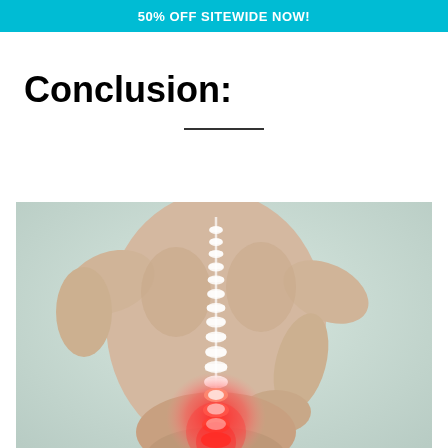50% OFF SITEWIDE NOW!
Conclusion:
[Figure (photo): A shirtless person viewed from behind, reaching back with one hand to touch their lower back. A highlighted spine is visible running down the center of the back, with the lower lumbar region glowing red to indicate pain or inflammation. The background is a light grayish-green.]